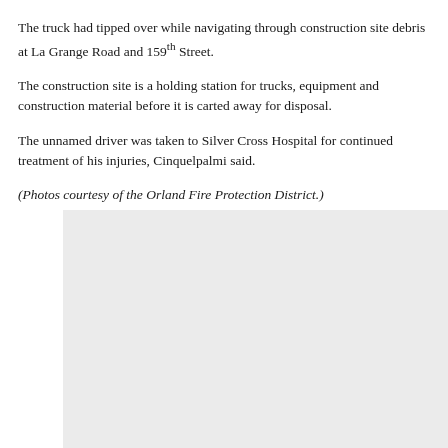The truck had tipped over while navigating through construction site debris at La Grange Road and 159th Street.
The construction site is a holding station for trucks, equipment and construction material before it is carted away for disposal.
The unnamed driver was taken to Silver Cross Hospital for continued treatment of his injuries, Cinquelpalmi said.
(Photos courtesy of the Orland Fire Protection District.)
[Figure (photo): Placeholder image area (light gray rectangle), likely a photo courtesy of the Orland Fire Protection District.]